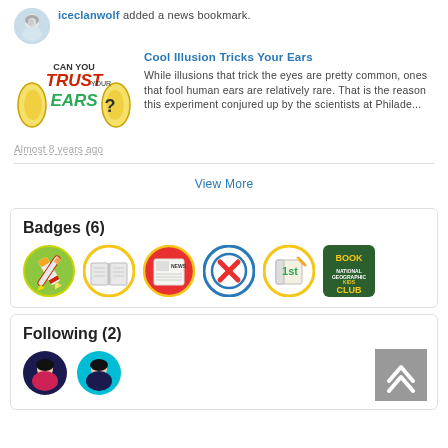iceclanwolf added a news bookmark.
[Figure (illustration): Thumbnail image with text 'Can You Trust Your Ears?' with illustrated ears]
Cool Illusion Tricks Your Ears
While illusions that trick the eyes are pretty common, ones that fool human ears are relatively rare. That is the reason this experiment conjured up by the scientists at Philade...
Almost 8 years ago
View More
Badges (6)
[Figure (illustration): Six badge icons: pencil on green circle, open book with yellow circle, newspaper with red/yellow, X mark with blue circle, '1st' notebook with yellow circle, National Geographic Kids Book Club badge]
Following (2)
[Figure (illustration): Two circular avatar icons of users being followed]